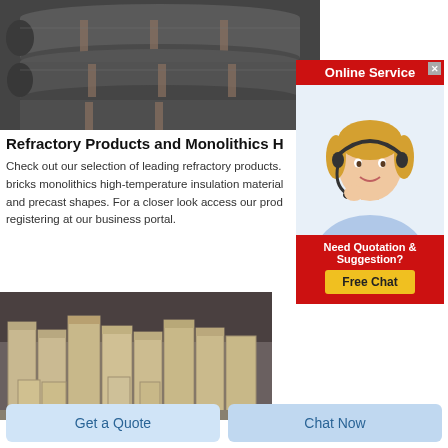[Figure (photo): Graphite electrode rods bundled together, dark gray color]
[Figure (infographic): Online Service banner with red header, female customer service agent wearing headset, and Free Chat button]
Refractory Products and Monolithics H
Check out our selection of leading refractory products. bricks monolithics high-temperature insulation material and precast shapes. For a closer look access our prod registering at our business portal.
[Figure (photo): Light-colored refractory bricks stacked in rows in a warehouse]
Get a Quote
Chat Now